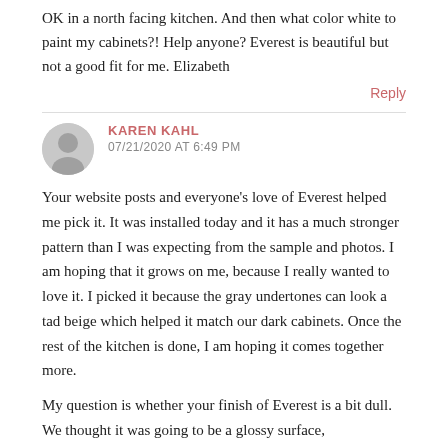OK in a north facing kitchen. And then what color white to paint my cabinets?! Help anyone? Everest is beautiful but not a good fit for me. Elizabeth
Reply
KAREN KAHL
07/21/2020 AT 6:49 PM
Your website posts and everyone's love of Everest helped me pick it. It was installed today and it has a much stronger pattern than I was expecting from the sample and photos. I am hoping that it grows on me, because I really wanted to love it. I picked it because the gray undertones can look a tad beige which helped it match our dark cabinets. Once the rest of the kitchen is done, I am hoping it comes together more.
My question is whether your finish of Everest is a bit dull. We thought it was going to be a glossy surface,